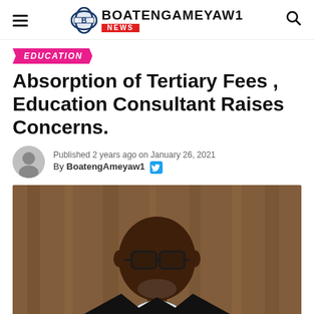BOATENGAMEYAW1 NEWS
EDUCATION
Absorption of Tertiary Fees , Education Consultant Raises Concerns.
Published 2 years ago on January 26, 2021
By BoatengAmeyaw1
[Figure (photo): Portrait photo of a middle-aged Black man wearing glasses and a dark suit jacket with a light shirt, against a wooden background.]